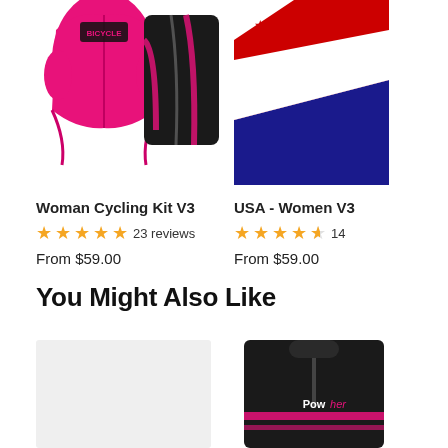[Figure (photo): Woman Cycling Kit V3 product image showing pink jersey and black/pink shorts]
Woman Cycling Kit V3
★★★★★ 23 reviews
From $59.00
[Figure (photo): USA - Women V3 cycling kit product image showing red, white, blue jersey (partially visible)]
USA - Women V3
★★★★½ 14 reviews
From $59.00
You Might Also Like
[Figure (photo): Placeholder light gray product image]
[Figure (photo): Black cycling jersey with pink PowHer text branding, partially visible]